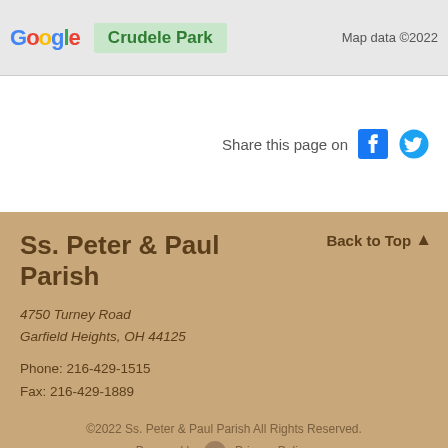[Figure (map): Google Maps strip showing Crudele Park with map attribution 'Map data ©2022']
Share this page on
Ss. Peter & Paul Parish
4750 Turney Road
Garfield Heights, OH 44125
Phone: 216-429-1515
Fax: 216-429-1889
©2022 Ss. Peter & Paul Parish All Rights Reserved.
Powered by [logo]. Privacy Policy.